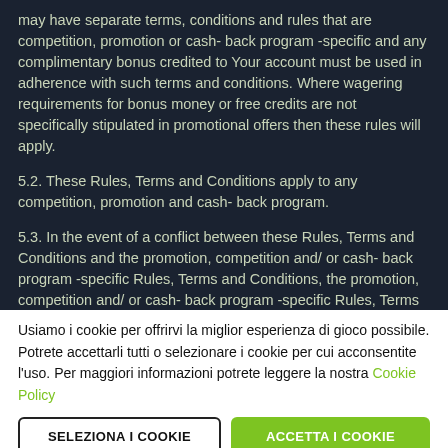may have separate terms, conditions and rules that are competition, promotion or cash- back program -specific and any complimentary bonus credited to Your account must be used in adherence with such terms and conditions. Where wagering requirements for bonus money or free credits are not specifically stipulated in promotional offers then these rules will apply.
5.2. These Rules, Terms and Conditions apply to any competition, promotion and cash- back program.
5.3. In the event of a conflict between these Rules, Terms and Conditions and the promotion, competition and/ or cash- back program -specific Rules, Terms and Conditions, the promotion, competition and/ or cash- back program -specific Rules, Terms
Usiamo i cookie per offrirvi la miglior esperienza di gioco possibile. Potrete accettarli tutti o selezionare i cookie per cui acconsentite l'uso. Per maggiori informazioni potrete leggere la nostra Cookie Policy